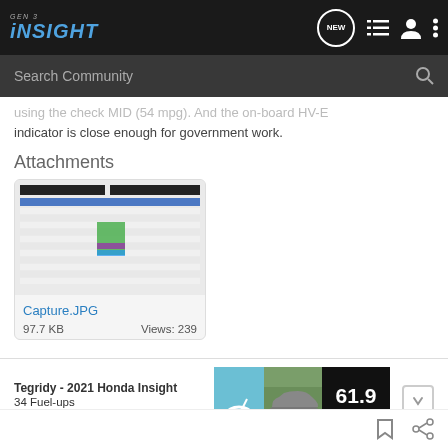GEN 3 INSIGHT
using the check MID (54 mpg). And the on-board HV-E indicator is close enough for government work.
Attachments
[Figure (screenshot): Thumbnail of spreadsheet/table image file named Capture.JPG]
Capture.JPG
97.7 KB    Views: 239
Tegridy - 2021 Honda Insight
34 Fuel-ups
driven by hasarad
[Figure (infographic): Fuelly widget showing 61.9 Avg MPG for a 2021 Honda Insight]